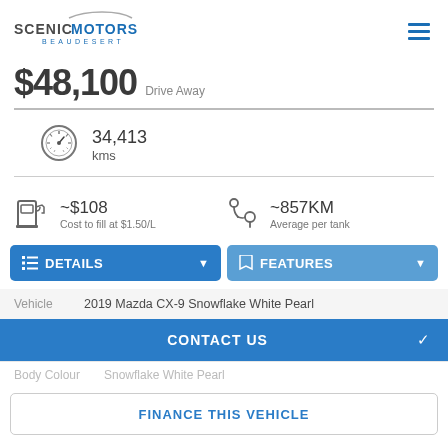[Figure (logo): Scenic Motors Beaudesert logo with car silhouette outline]
$48,100 Drive Away
34,413 kms
~$108 Cost to fill at $1.50/L
~857KM Average per tank
DETAILS
FEATURES
|  |  |
| --- | --- |
| Vehicle | 2019 Mazda CX-9 Snowflake White Pearl |
CONTACT US
Body Colour  Snowflake White Pearl
FINANCE THIS VEHICLE